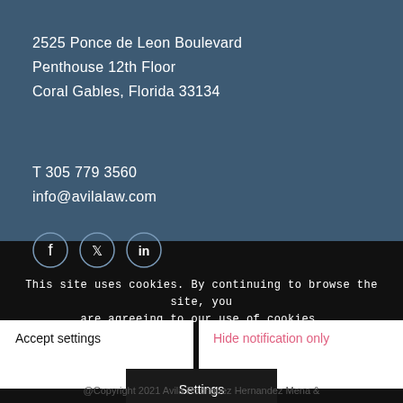2525 Ponce de Leon Boulevard
Penthouse 12th Floor
Coral Gables, Florida 33134
T 305 779 3560
info@avilalaw.com
[Figure (illustration): Three social media icons: Facebook, Twitter, LinkedIn in circular outlines]
This site uses cookies. By continuing to browse the site, you are agreeing to our use of cookies.
Accept settings
Hide notification only
Settings
@Copyright 2021 Avila Rodriguez Hernandez Mena &